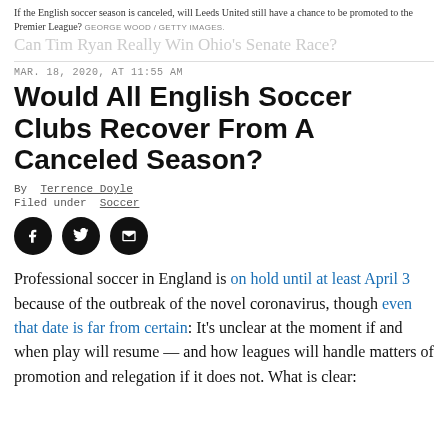If the English soccer season is canceled, will Leeds United still have a chance to be promoted to the Premier League? GEORGE WOOD / GETTY IMAGES.
Can Tim Ryan Really Win Ohio's Senate Race?
MAR. 18, 2020, AT 11:55 AM
Would All English Soccer Clubs Recover From A Canceled Season?
By Terrence Doyle
Filed under Soccer
[Figure (other): Social sharing icons: Facebook, Twitter, Email]
Professional soccer in England is on hold until at least April 3 because of the outbreak of the novel coronavirus, though even that date is far from certain: It's unclear at the moment if and when play will resume — and how leagues will handle matters of promotion and relegation if it does not. What is clear: